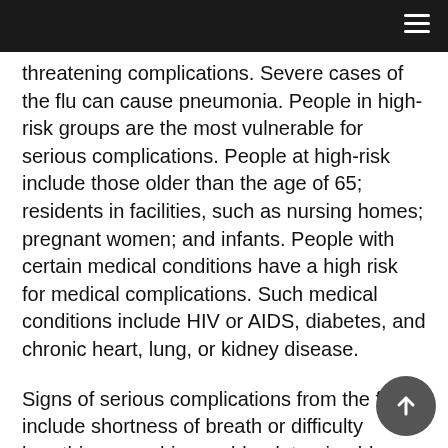threatening complications. Severe cases of the flu can cause pneumonia. People in high-risk groups are the most vulnerable for serious complications. People at high-risk include those older than the age of 65; residents in facilities, such as nursing homes; pregnant women; and infants. People with certain medical conditions have a high risk for medical complications. Such medical conditions include HIV or AIDS, diabetes, and chronic heart, lung, or kidney disease.
Signs of serious complications from the flu include shortness of breath or difficulty breathing, coughing up blood, turning blue, increased fever,